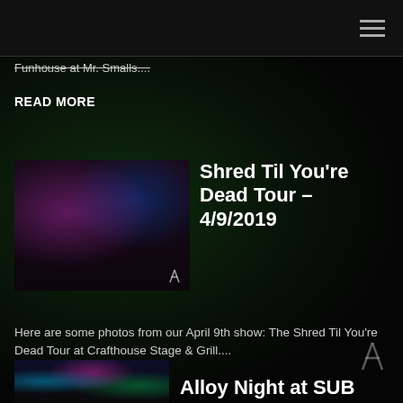Navigation bar with hamburger menu
Funhouse at Mr. Smalls....
READ MORE
[Figure (photo): Concert photo showing a performer with long dreadlocks bending over on a dimly lit stage with purple/blue lighting]
Shred Til You're Dead Tour – 4/9/2019
Here are some photos from our April 9th show: The Shred Til You're Dead Tour at Crafthouse Stage & Grill....
READ MORE
[Figure (photo): Concert photo with colorful LED lights]
Alloy Night at SUB